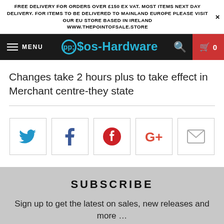FREE DELIVERY FOR ORDERS OVER £150 EX VAT. MOST ITEMS NEXT DAY DELIVERY. FOR ITEMS TO BE DELIVERED TO MAINLAND EUROPE PLEASE VISIT OUR EU STORE BASED IN IRELAND WWW.THEPOINTOFSALE.STORE
[Figure (screenshot): Navigation bar with hamburger menu (MENU), Pos-Hardware logo in blue, search icon, and red cart icon with count 0]
Changes take 2 hours plus to take effect in Merchant centre-they state
[Figure (infographic): Social sharing buttons row: Twitter (blue bird), Facebook (blue f), Pinterest (red P), Google+ (red G+), Email (grey envelope)]
SUBSCRIBE
Sign up to get the latest on sales, new releases and more …